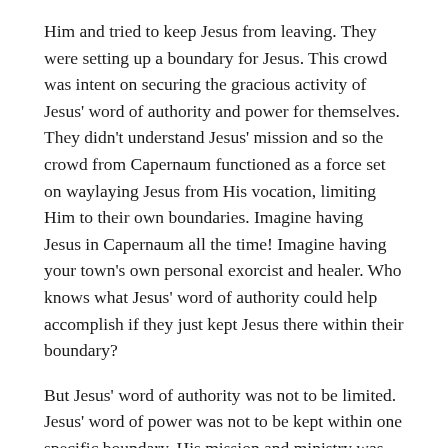Him and tried to keep Jesus from leaving. They were setting up a boundary for Jesus. This crowd was intent on securing the gracious activity of Jesus' word of authority and power for themselves. They didn't understand Jesus' mission and so the crowd from Capernaum functioned as a force set on waylaying Jesus from His vocation, limiting Him to their own boundaries. Imagine having Jesus in Capernaum all the time! Imagine having your town's own personal exorcist and healer. Who knows what Jesus' word of authority could help accomplish if they just kept Jesus there within their boundary?
But Jesus' word of authority was not to be limited. Jesus' word of power was not to be kept within one specific boundary. His mission and ministry was an itinerant mission. Jesus was not to be confined to one location or one group of people. He tells them plainly, “It is